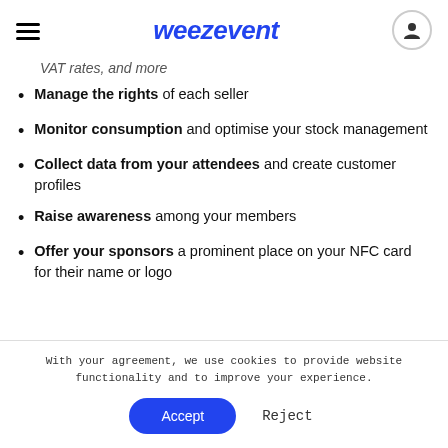weezevent
VAT rates, and more
Manage the rights of each seller
Monitor consumption and optimise your stock management
Collect data from your attendees and create customer profiles
Raise awareness among your members
Offer your sponsors a prominent place on your NFC card for their name or logo
With your agreement, we use cookies to provide website functionality and to improve your experience.
Accept
Reject